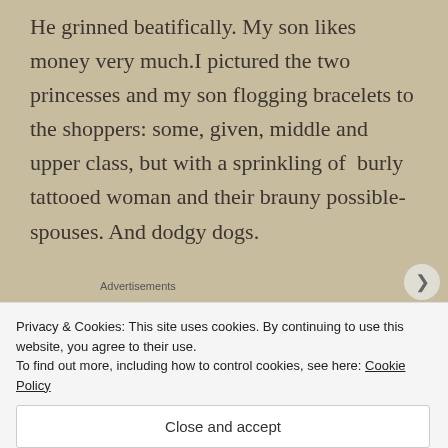He grinned beatifically. My son likes money very much.I pictured the two princesses and my son flogging bracelets to the shoppers: some, given, middle and upper class, but with a sprinkling of  burly tattooed woman and their brauny possible-spouses. And dodgy dogs.
Advertisements
[Figure (screenshot): WordPress hosting advertisement banner: dark navy background with white P logo icon and text 'WORDPRESS HOSTING THAT MEANS BUSINESS.' alongside an OPEN sign photo]
I blanched: and I thought quickly:
Privacy & Cookies: This site uses cookies. By continuing to use this website, you agree to their use.
To find out more, including how to control cookies, see here: Cookie Policy
Close and accept